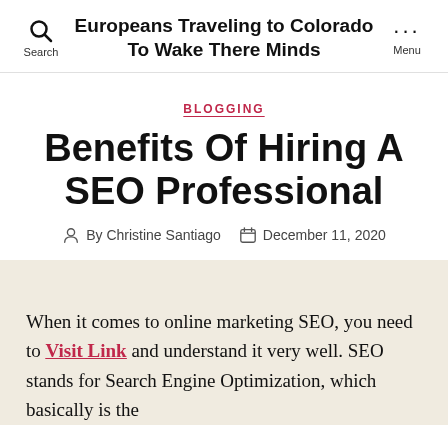Europeans Traveling to Colorado To Wake There Minds
BLOGGING
Benefits Of Hiring A SEO Professional
By Christine Santiago   December 11, 2020
When it comes to online marketing SEO, you need to Visit Link and understand it very well. SEO stands for Search Engine Optimization, which basically is the